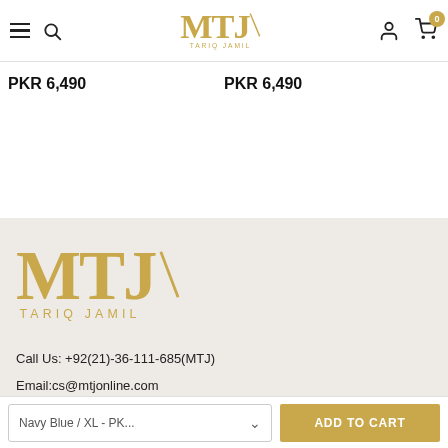MTJ Tariq Jamil — Navigation header with hamburger, search, logo, user account, cart (0)
PKR 6,490
PKR 6,490
[Figure (logo): MTJ Tariq Jamil logo in gold, large, in footer section]
Call Us: +92(21)-36-111-685(MTJ)
Email:cs@mtjonline.com
[Figure (illustration): Facebook and Instagram social media icons]
Navy Blue / XL - PK...
ADD TO CART